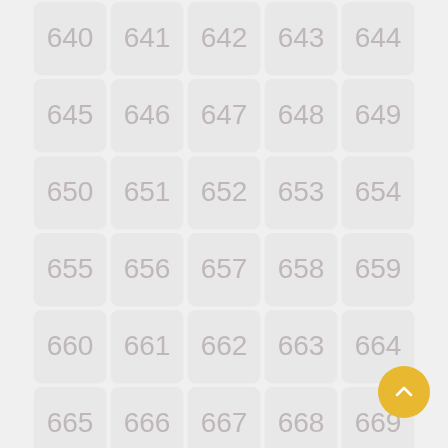[Figure (other): A grid of numbered cells from 640 to 694, arranged in rows of 5, with a golden yellow circular back-to-top button in the bottom right corner.]